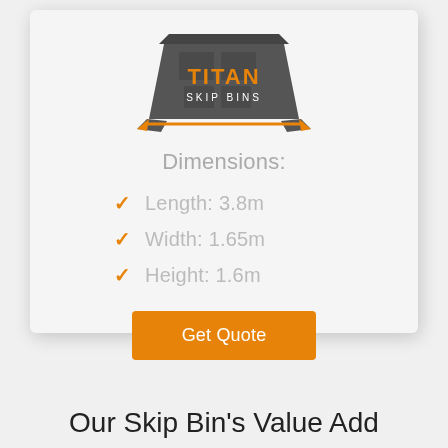[Figure (logo): Titan Skip Bins logo on a dark grey skip bin container illustration with orange text TITAN and white text SKIP BINS]
Dimensions:
Length: 3.8m
Width: 1.65m
Height: 1.6m
Get Quote
Our Skip Bin's Value Add